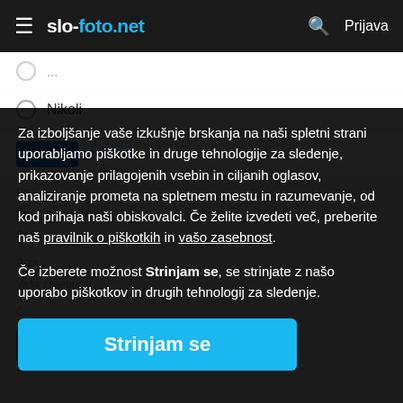slo-foto.net  Prijava
Nikoli
Za izboljšanje vaše izkušnje brskanja na naši spletni strani uporabljamo piškotke in druge tehnologije za sledenje, prikazovanje prilagojenih vsebin in ciljanih oglasov, analiziranje prometa na spletnem mestu in razumevanje, od kod prihaja naši obiskovalci. Če želite izvedeti več, preberite naš pravilnik o piškotkih in vašo zasebnost.
Če izberete možnost Strinjam se, se strinjate z našo uporabo piškotkov in drugih tehnologij za sledenje.
Strinjam se